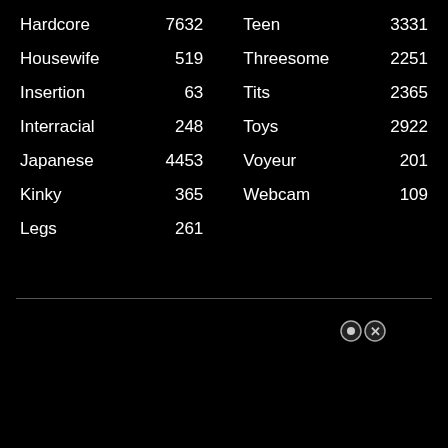| Hardcore | 7632 | Teen | 3331 |
| Housewife | 519 | Threesome | 2251 |
| Insertion | 63 | Tits | 2365 |
| Interracial | 248 | Toys | 2922 |
| Japanese | 4453 | Voyeur | 201 |
| Kinky | 365 | Webcam | 109 |
| Legs | 261 |  |  |
[Figure (other): Two small circular icon buttons (one with a dot, one with an X) on a black background]